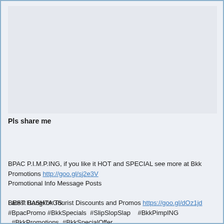[Figure (other): Empty grey image placeholder area]
Pls share me
BPAC P.I.M.P.ING, if you like it HOT and SPECIAL see more at Bkk Promotions http://goo.gl/sj2e3V
Promotional Info Message Posts

Latest Bangkok Tourist Discounts and Promos https://goo.gl/dOz1jd
BEST HASHTAGS:
#BpacPromo #BkkSpecials  #SlipSlopSlap    #BkkPimpING
  #BkkPromotions  #BkkSpecialOffer